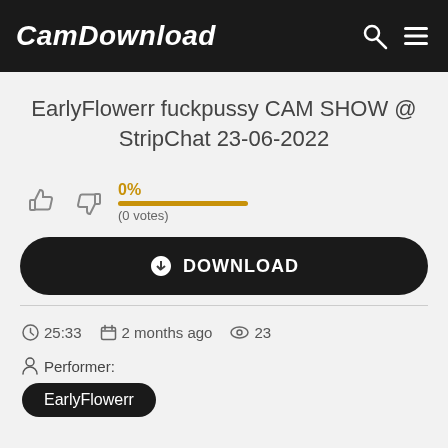CamDownload
EarlyFlowerr fuckpussy CAM SHOW @ StripChat 23-06-2022
[Figure (infographic): Thumbs up and thumbs down rating icons with 0% rating bar and (0 votes) label]
[Figure (infographic): DOWNLOAD button with download icon]
25:33  2 months ago  23
Performer:
EarlyFlowerr